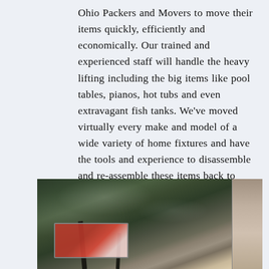Ohio Packers and Movers to move their items quickly, efficiently and economically. Our trained and experienced staff will handle the heavy lifting including the big items like pool tables, pianos, hot tubs and even extravagant fish tanks. We've moved virtually every make and model of a wide variety of home fixtures and have the tools and experience to disassemble and re-assemble these items back to show-room condition. We can also provide expedited moving services including whole-home packing and un-packing.
[Figure (photo): Outdoor winter scene showing snow-covered evergreen trees and bare branches, with a red billboard/sign visible in the lower portion and a building structure on the right side.]